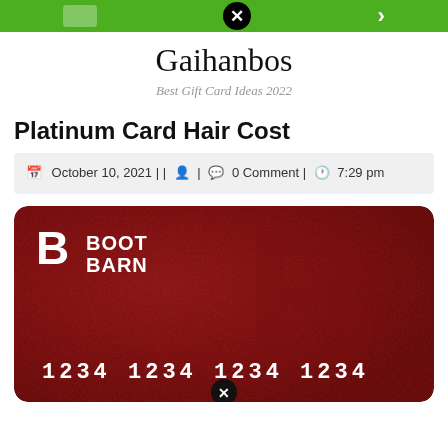Gaihanbos - navigation bar with close icon
Gaihanbos
Best Gift Card Ideas 2022
Platinum Card Hair Cost
October 10, 2021 | | 0 Comment | 7:29 pm
[Figure (photo): Boot Barn credit/gift card with dark red textured background showing Boot Barn logo and card number 1234 1234 1234 1234]